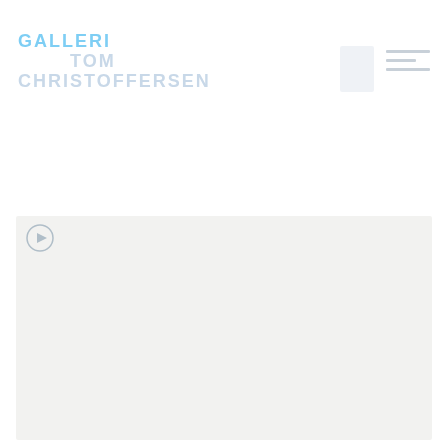GALLERI TOM CHRISTOFFERSEN
[Figure (screenshot): Navigation area with a small thumbnail image placeholder and horizontal menu lines on the top right of the page header]
[Figure (photo): Large light gray image area occupying the bottom half of the page, representing the main gallery content area with a small play/media icon in the top-left corner]